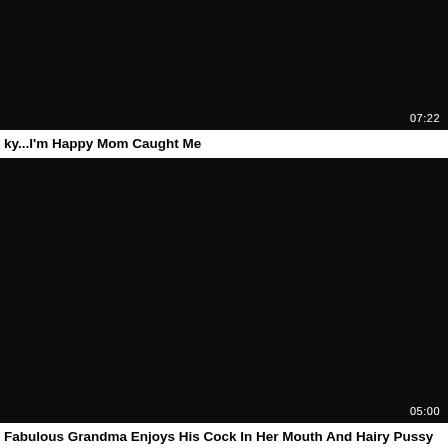[Figure (screenshot): Dark/black video thumbnail for first video]
07:22
ky...I'm Happy Mom Caught Me
[Figure (screenshot): Dark/black video thumbnail for second video]
05:00
Fabulous Grandma Enjoys His Cock In Her Mouth And Hairy Pussy